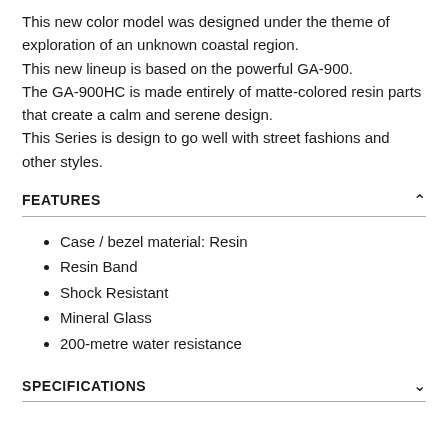This new color model was designed under the theme of exploration of an unknown coastal region. This new lineup is based on the powerful GA-900. The GA-900HC is made entirely of matte-colored resin parts that create a calm and serene design. This Series is design to go well with street fashions and other styles.
FEATURES
Case / bezel material: Resin
Resin Band
Shock Resistant
Mineral Glass
200-metre water resistance
SPECIFICATIONS